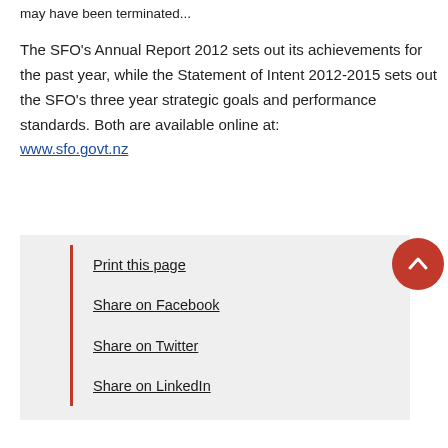may have been terminated...
The SFO's Annual Report 2012 sets out its achievements for the past year, while the Statement of Intent 2012-2015 sets out the SFO's three year strategic goals and performance standards. Both are available online at: www.sfo.govt.nz
Print this page
Share on Facebook
Share on Twitter
Share on LinkedIn